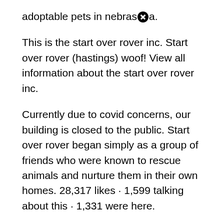adoptable pets in nebraska.
This is the start over rover inc. Start over rover (hastings) woof! View all information about the start over rover inc.
Currently due to covid concerns, our building is closed to the public. Start over rover began simply as a group of friends who were known to rescue animals and nurture them in their own homes. 28,317 likes · 1,599 talking about this · 1,331 were here.
See also  Jobs That Start With Letter K
Learn more about start over rover inc. It all started with a goal to help animals in the hastings